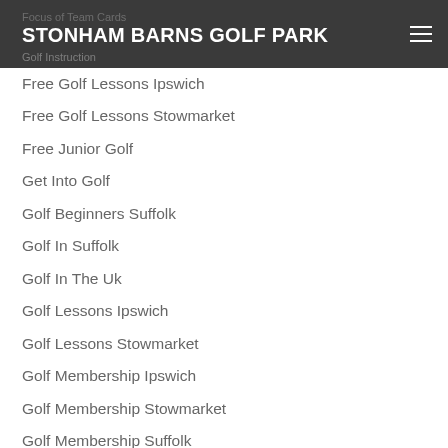STONHAM BARNS GOLF PARK
Free Golf Lessons Ipswich
Free Golf Lessons Stowmarket
Free Junior Golf
Get Into Golf
Golf Beginners Suffolk
Golf In Suffolk
Golf In The Uk
Golf Lessons Ipswich
Golf Lessons Stowmarket
Golf Membership Ipswich
Golf Membership Stowmarket
Golf Membership Suffolk
Golf Participation
Golf Simulators
Indoor Golf
Ipswich Football
Ipswich Junior Golf